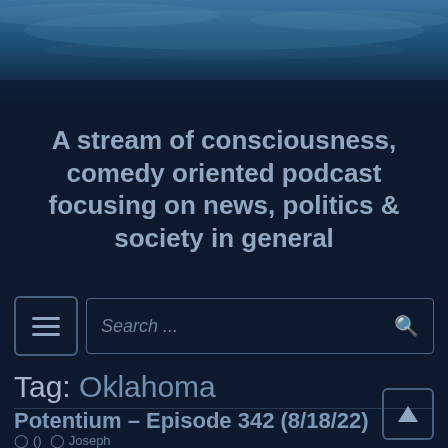[Figure (photo): Dark blue ocean/sky aerial photo used as hero banner image at top of podcast website]
A stream of consciousness, comedy oriented podcast focusing on news, politics & society in general
Search ...
Tag: Oklahoma
Potentium – Episode 342 (8/18/22)
Joseph